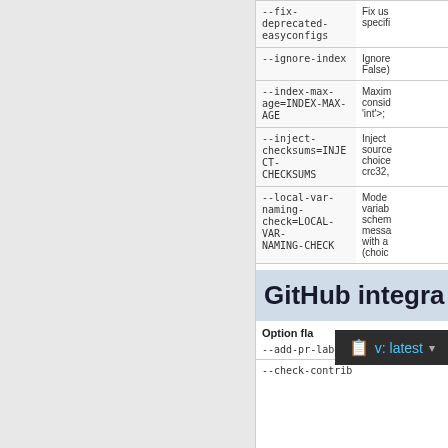| Option | Description |
| --- | --- |
| --fix-deprecated-easyconfigs | Fix us... specifi... |
| --ignore-index | Ignore... False) |
| --index-max-age=INDEX-MAX-AGE | Maxim... consid... 'int'>; |
| --inject-checksums=INJECT-CHECKSUMS | Inject... source... choice... crc32, |
| --local-var-naming-check=LOCAL-VAR-NAMING-CHECK | Mode... variab... schem... messa... with a... (choic... |
GitHub integra...
Option fla...
--add-pr-labels=PR...
--check-contrib